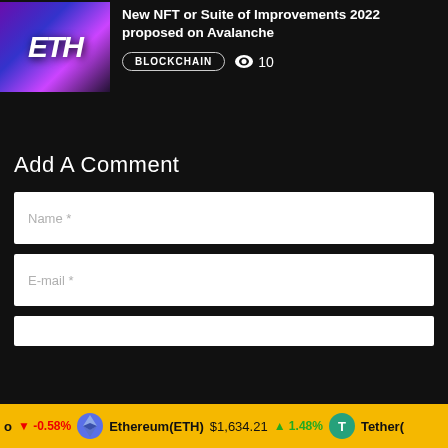[Figure (photo): Thumbnail image for article about NFT or blockchain topic, showing colorful futuristic characters with ETH text]
New NFT or Suite of Improvements 2022 proposed on Avalanche
BLOCKCHAIN  👁 10
Add A Comment
Name *
E-mail *
o ↓ -0.58%  Ethereum(ETH) $1,634.21 ↑ 1.48%  Tether(